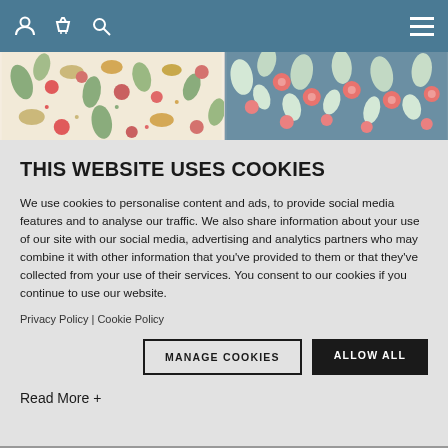Navigation bar with user, basket, search icons and hamburger menu
[Figure (photo): Two Tilda Windy Days fabric product cards with floral patterns]
THIS WEBSITE USES COOKIES
We use cookies to personalise content and ads, to provide social media features and to analyse our traffic. We also share information about your use of our site with our social media, advertising and analytics partners who may combine it with other information that you've provided to them or that they've collected from your use of their services. You consent to our cookies if you continue to use our website.
Privacy Policy | Cookie Policy
MANAGE COOKIES   ALLOW ALL
Read More +